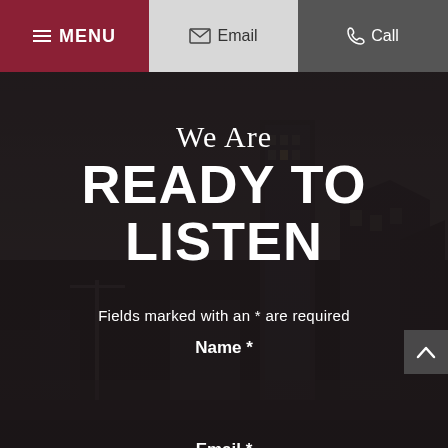MENU | Email | Call
We Are
READY TO LISTEN
Fields marked with an * are required
Name *
Email *
[Figure (photo): Dark city skyline background photo showing urban buildings against a cloudy sky with dark overlay]